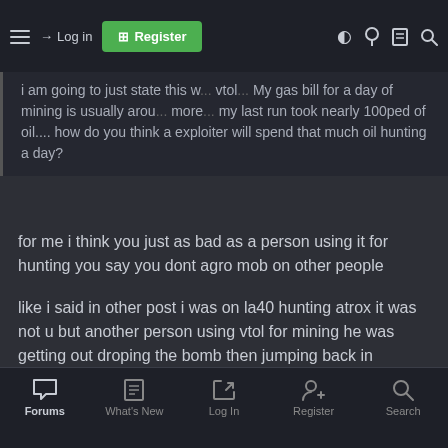Log in | Register (navigation bar)
i am going to just state this w... vtol... My gas bill for a day of mining is usually arou... more... my last run took nearly 100ped of oil.... how do you think a exploiter will spend that much oil hunting a day?
for me i think you just as bad as a person using it for hunting you say you dont agro mob on other people
like i said in other post i was on la40 hunting atrox it was not u but another person using vtol for mining he was getting out droping the bomb then jumping back in
were do you think the mob ran for after he got back in me i paid for the decay the miner paid fuck all the only thing he paid in decay if he found something other wise driving or runing or walking he would have got alot more decay
Forums | What's New | Log In | Register | Search